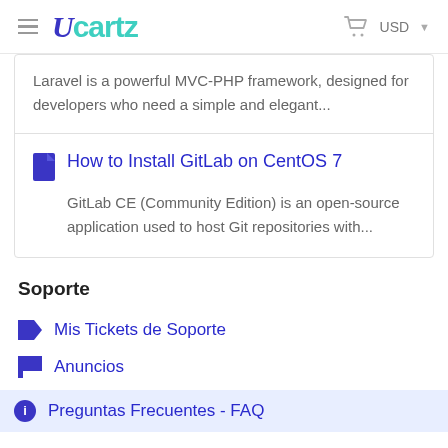Ucartz — USD
Laravel is a powerful MVC-PHP framework, designed for developers who need a simple and elegant...
How to Install GitLab on CentOS 7
GitLab CE (Community Edition) is an open-source application used to host Git repositories with...
Soporte
Mis Tickets de Soporte
Anuncios
Preguntas Frecuentes - FAQ